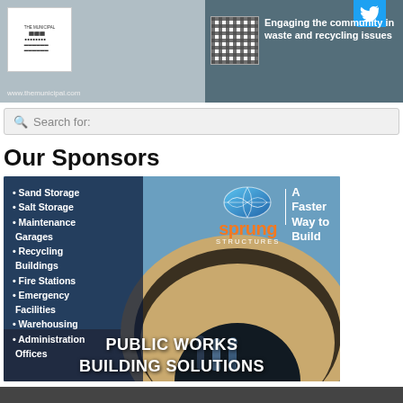[Figure (screenshot): Website header banner showing The Municipal logo/QR code area, Twitter bird icon, and text 'Engaging the community in waste and recycling issues' with URL www.themunicipal.com]
Search for:
Our Sponsors
[Figure (photo): Sprung Structures advertisement showing a large fabric arch building (public works structure) with three people standing in front. Left panel lists: Sand Storage, Salt Storage, Maintenance Garages, Recycling Buildings, Fire Stations, Emergency Facilities, Warehousing, Administration Offices. Top right shows Sprung Structures logo with globe icon and tagline 'A Faster Way to Build'. Bottom text reads PUBLIC WORKS BUILDING SOLUTIONS.]